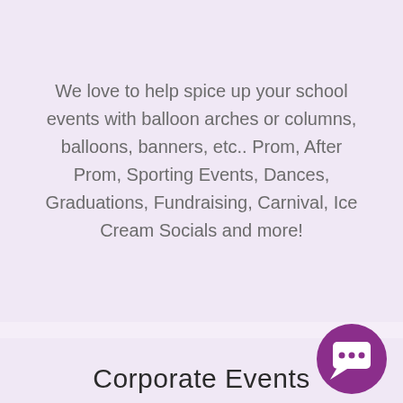We love to help spice up your school events with balloon arches or columns, balloons, banners, etc.. Prom, After Prom, Sporting Events, Dances, Graduations, Fundraising, Carnival, Ice Cream Socials and more!
Corporate Events
[Figure (illustration): Purple circular chat bubble icon in bottom right corner]